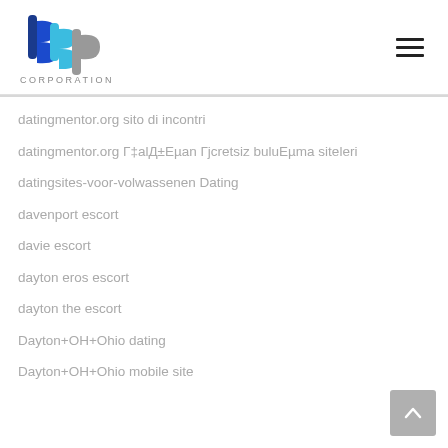[Figure (logo): bbp Corporation logo with stylized blue and grey letters 'bbp' and 'CORPORATION' text below]
datingmentor.org sito di incontri
datingmentor.org Г‡alД±Eµan Гjcretsiz buluEµma siteleri
datingsites-voor-volwassenen Dating
davenport escort
davie escort
dayton eros escort
dayton the escort
Dayton+OH+Ohio dating
Dayton+OH+Ohio mobile site